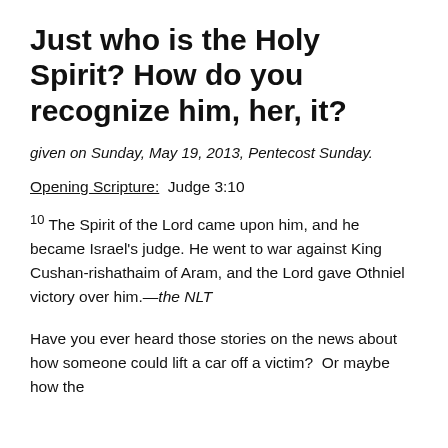Just who is the Holy Spirit? How do you recognize him, her, it?
given on Sunday, May 19, 2013, Pentecost Sunday.
Opening Scripture:  Judge 3:10
10 The Spirit of the Lord came upon him, and he became Israel’s judge. He went to war against King Cushan-rishathaim of Aram, and the Lord gave Othniel victory over him.—the NLT
Have you ever heard those stories on the news about how someone could lift a car off a victim?  Or maybe how the